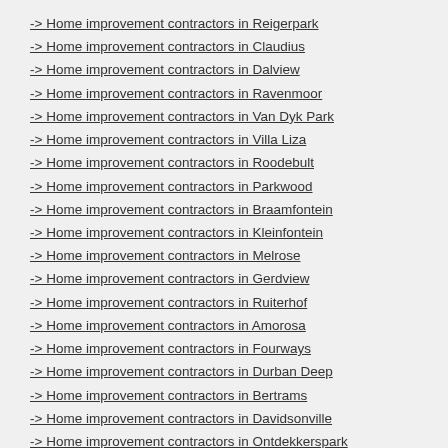-> Home improvement contractors in Reigerpark
-> Home improvement contractors in Claudius
-> Home improvement contractors in Dalview
-> Home improvement contractors in Ravenmoor
-> Home improvement contractors in Van Dyk Park
-> Home improvement contractors in Villa Liza
-> Home improvement contractors in Roodebult
-> Home improvement contractors in Parkwood
-> Home improvement contractors in Braamfontein
-> Home improvement contractors in Kleinfontein
-> Home improvement contractors in Melrose
-> Home improvement contractors in Gerdview
-> Home improvement contractors in Ruiterhof
-> Home improvement contractors in Amorosa
-> Home improvement contractors in Fourways
-> Home improvement contractors in Durban Deep
-> Home improvement contractors in Bertrams
-> Home improvement contractors in Davidsonville
-> Home improvement contractors in Ontdekkerspark
-> Home improvement contractors in Parkrand
-> Home improvement contractors in Milpark
-> Home improvement contractors in Candlewoods Country Estate
-> Home improvement contractors in Noordekrans
-> Home improvement contractors in Allandale